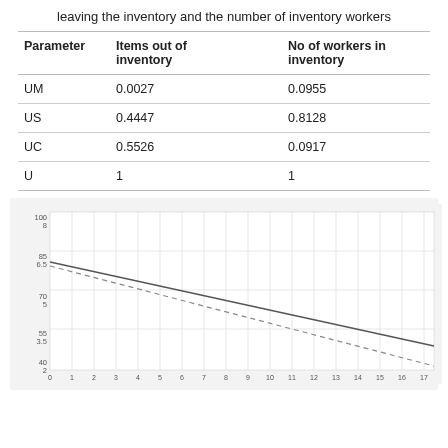leaving the inventory and the number of inventory workers
| Parameter | Items out of inventory | No of workers in inventory |
| --- | --- | --- |
| UM | 0.0027 | 0.0955 |
| US | 0.4447 | 0.8128 |
| UC | 0.5526 | 0.0917 |
| U | 1 | 1 |
[Figure (line-chart): Two declining lines (one solid, one dashed) plotted on a grid. Y-axis shows dual scales (left: 100/8, 85/6.5, 70/5, 55/3.5, 40/2). X-axis shows numbered intervals.]